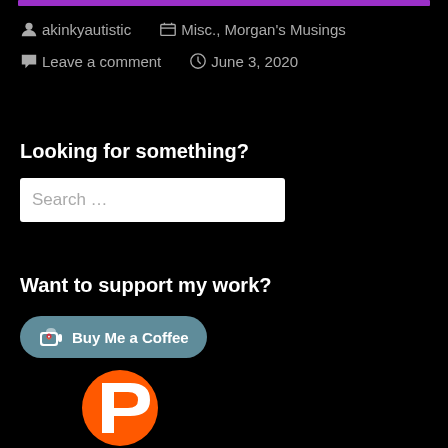akinkyautistic   Misc., Morgan's Musings   Leave a comment   June 3, 2020
Looking for something?
Search …
Want to support my work?
[Figure (logo): Buy Me a Coffee button — teal rounded rectangle with coffee cup icon and text 'Buy Me a Coffee']
[Figure (logo): Patreon logo — large orange circle with white P shape]